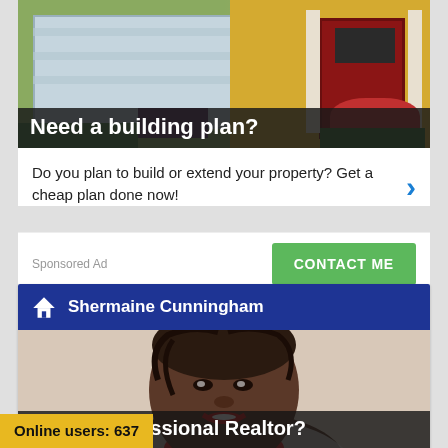[Figure (photo): House exterior photo showing a white garage door and a red front door with columns and flowers, with greenery]
Need a building plan?
Do you plan to build or extend your property? Get a cheap plan done now!
Sponsored Ad
CONTACT ME
Shermaine Cunningham
[Figure (photo): Professional headshot of Shermaine Cunningham, a woman smiling with red lipstick, braided hair, wearing white with a red scarf]
Need a Professional Realtor?
Do you have a property to sell or seeking a property to buy? We have s ready ...
Online users: 637